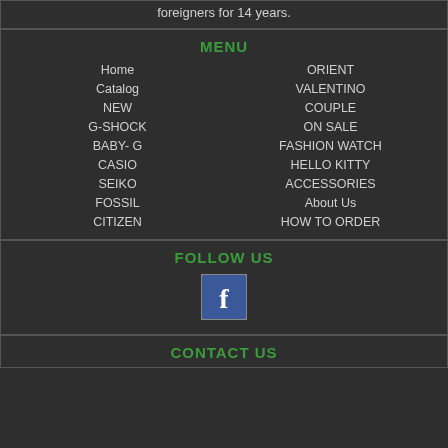foreigners for 14 years.
MENU
Home
Catalog
NEW
G-SHOCK
BABY- G
CASIO
SEIKO
FOSSIL
CITIZEN
ORIENT
VALENTINO
COUPLE
ON SALE
FASHION WATCH
HELLO KITTY
ACCESSORIES
About Us
HOW TO ORDER
FOLLOW US
[Figure (logo): Facebook logo icon - white F on blue background]
CONTACT US